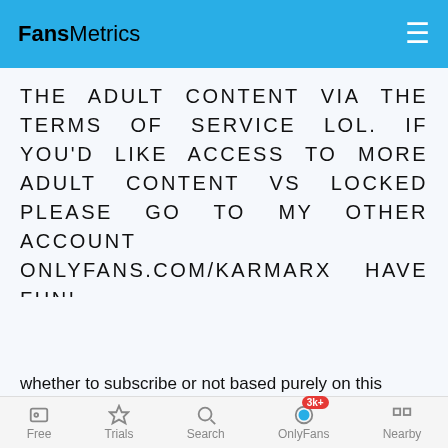FansMetrics
THE ADULT CONTENT VIA THE TERMS OF SERVICE LOL. IF YOU'D LIKE ACCESS TO MORE ADULT CONTENT VS LOCKED PLEASE GO TO MY OTHER ACCOUNT ONLYFANS.COM/KARMARX HAVE FUN!
Is @karmarxfree OnlyFans worth it? 🔞
First of all, I would like to note, that this is an article
[Figure (screenshot): Dark popup bar with 'WIN FREE ONLYFANS' button and 'Share & WIN' Twitter button with close X]
whether to subscribe or not based purely on this
Free  Trials  Search  OnlyFans 3k+  Nearby